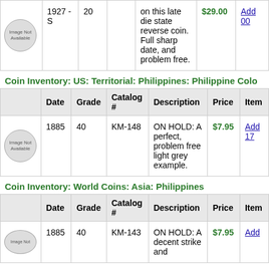|  | Date | Grade | Catalog # | Description | Price | Item |
| --- | --- | --- | --- | --- | --- | --- |
| Image Not Available | 1927 - S | 20 |  | on this late die state reverse coin. Full sharp date, and problem free. | $29.00 | Add 00 |
Coin Inventory: US: Territorial: Philippines: Philippine Colo
|  | Date | Grade | Catalog # | Description | Price | Item |
| --- | --- | --- | --- | --- | --- | --- |
| Image Not Available | 1885 | 40 | KM-148 | ON HOLD: A perfect, problem free light grey example. | $7.95 | Add 17 |
Coin Inventory: World Coins: Asia: Philippines
|  | Date | Grade | Catalog # | Description | Price | Item |
| --- | --- | --- | --- | --- | --- | --- |
| Image Not Available | 1885 | 40 | KM-143 | ON HOLD: A decent strike and | $7.95 | Add |